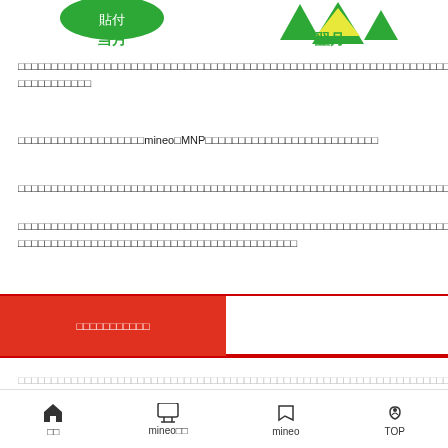[Figure (illustration): Top portion showing green icons for 当月 (current month) on the left and green/yellow icons for 翌月 (next month) on the right]
当月
翌月
□□□□□□□□□□□□□□□□□□□□□□□□□□□□□□□□□□□□□□□□□□□□□□□□□□□□□□□□□□□□□□□□□□□□□□□□□□□□□□□□□□□□□□□□□□□
□□□□□□□□□□□□□□□□□□□mineo□MNP□□□□□□□□□□□□□□□□□□□□□□□□□
□□□□□□□□□□□□□□□□□□□□□□□□□□□□□□□□□□□□□□□□□□□□□□□□□□□□□□□□□□□□□□□□□□□□□□□□□□□
□□□□□□□□□□□□□□□□□□□□□□□□□□□□□□□□□□□□□□□□□□□□□□□□□□□□□□□□□□□□□□□□□□□□□□□□□□□□□□□□□□□□□□□□□□□□□□□□□□□□□□□□□□□□□□□□□□□□□□□□□□□□□□□□□□□□□□
□□□□□□□□□□□□□□□□□□□□□□□□□□□□□□□□□□□□□□□□□□□□□□□□□□□□□□□□□□□□□□□□□□□□□□□□□□□□□□□□□□□□□□□□□□□□□□□□□□□□□□□□□□□□□□□□□□□□□□
□□□□□□□□□□□□□□□□□□□□□□□□□□□□□□□□□□□□□□□□□□□□□□□□□□□□□□□□□□□□□□□□□□□□□□□□□□□□□□□□□□□□□□□□□□□□□□□□□□□□□□□□□□□□□□□□□□□□□□
□□□□□□□□□□□□□□□□□□□□□□□□□□□□□□□□□□□□□□□□□□□□□□□□□□□□□□□□□□□□□□□□□□□□□□□□□□□□□□□□□□□□□□□□□□□□□□□□□□□□□□□□□□□□□□
□□  mineo□□  mineo  TOP